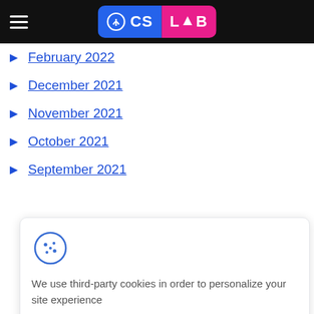CS LAB
February 2022
December 2021
November 2021
October 2021
September 2021
[Figure (infographic): Cookie consent banner with cookie icon, text 'We use third-party cookies in order to personalize your site experience', Allow and Decline buttons]
[Figure (infographic): Language selector button showing UK flag and English text with dropdown arrow, yellow background]